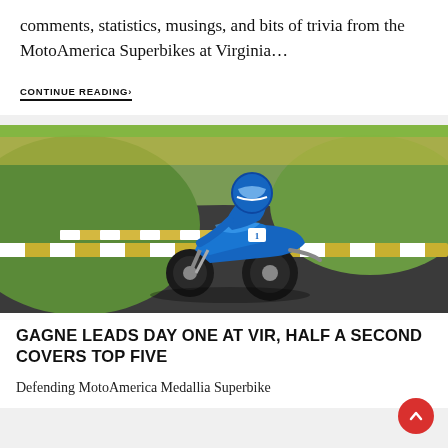comments, statistics, musings, and bits of trivia from the MotoAmerica Superbikes at Virginia…
CONTINUE READING›
[Figure (photo): A motorcycle racer on a blue Yamaha superbike leaning through a corner on a race track. Yellow and green curbing visible, green grass in background.]
GAGNE LEADS DAY ONE AT VIR, HALF A SECOND COVERS TOP FIVE
Defending MotoAmerica Medallia Superbike